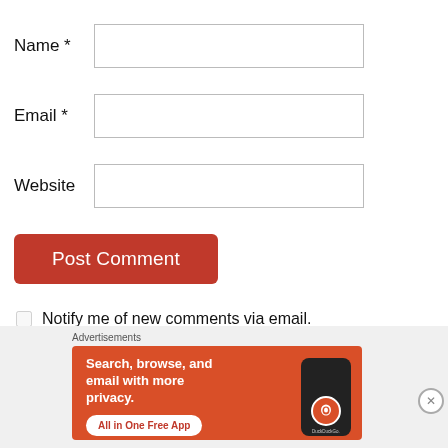Name *
Email *
Website
Post Comment
Notify me of new comments via email.
[Figure (screenshot): DuckDuckGo advertisement banner: 'Search, browse, and email with more privacy. All in One Free App' with phone mockup and DuckDuckGo logo]
Advertisements